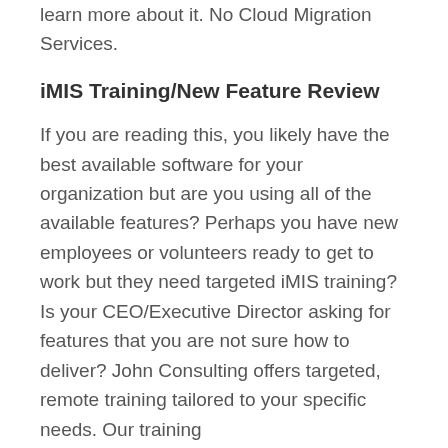learn more about it. No Cloud Migration Services.
iMIS Training/New Feature Review
If you are reading this, you likely have the best available software for your organization but are you using all of the available features? Perhaps you have new employees or volunteers ready to get to work but they need targeted iMIS training? Is your CEO/Executive Director asking for features that you are not sure how to deliver? John Consulting offers targeted, remote training tailored to your specific needs. Our training